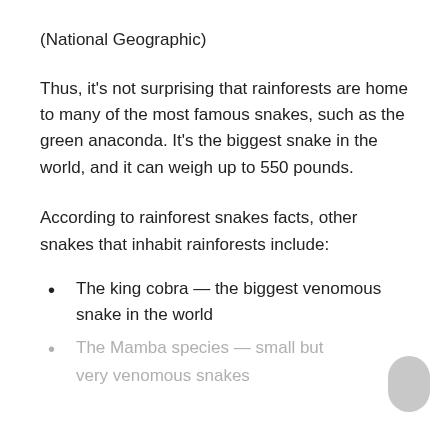(National Geographic)
Thus, it’s not surprising that rainforests are home to many of the most famous snakes, such as the green anaconda. It’s the biggest snake in the world, and it can weigh up to 550 pounds.
According to rainforest snakes facts, other snakes that inhabit rainforests include:
The king cobra — the biggest venomous snake in the world
The Mamba species — small but very venomous snakes